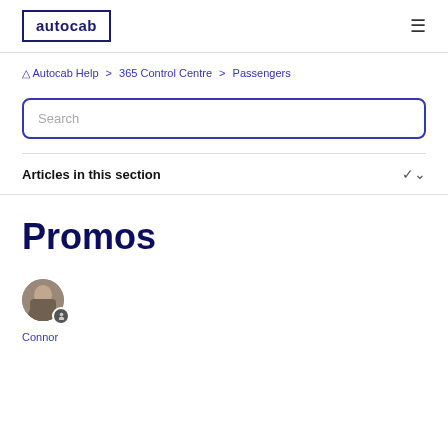autocab
Autocab Help > 365 Control Centre > Passengers
Search
Articles in this section
Promos
Connor